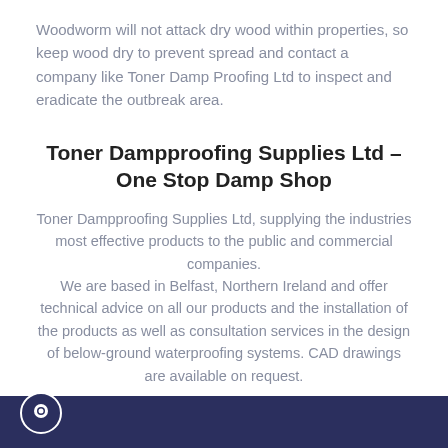Woodworm will not attack dry wood within properties, so keep wood dry to prevent spread and contact a company like Toner Damp Proofing Ltd to inspect and eradicate the outbreak area.
Toner Dampproofing Supplies Ltd – One Stop Damp Shop
Toner Dampproofing Supplies Ltd, supplying the industries most effective products to the public and commercial companies. We are based in Belfast, Northern Ireland and offer technical advice on all our products and the installation of the products as well as consultation services in the design of below-ground waterproofing systems. CAD drawings are available on request.